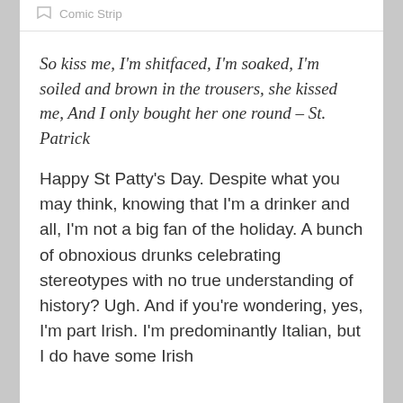Comic Strip
So kiss me, I'm shitfaced, I'm soaked, I'm soiled and brown in the trousers, she kissed me, And I only bought her one round – St. Patrick
Happy St Patty's Day. Despite what you may think, knowing that I'm a drinker and all, I'm not a big fan of the holiday. A bunch of obnoxious drunks celebrating stereotypes with no true understanding of history? Ugh. And if you're wondering, yes, I'm part Irish. I'm predominantly Italian, but I do have some Irish